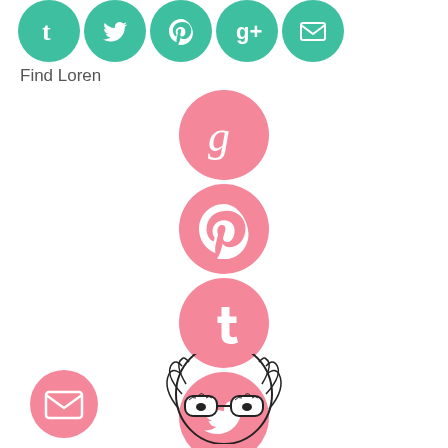[Figure (illustration): Row of teal social media icon circles at top (Tumblr, Twitter, Pinterest, Google+, Email)]
Find Loren
[Figure (illustration): Vertical stack of pink social media circles: Goodreads (g), Pinterest (p), Tumblr (t), Twitter bird icon]
[Figure (illustration): Pink circle with envelope/email icon at lower left]
[Figure (illustration): Black and white illustration of a woman with glasses at the bottom center]